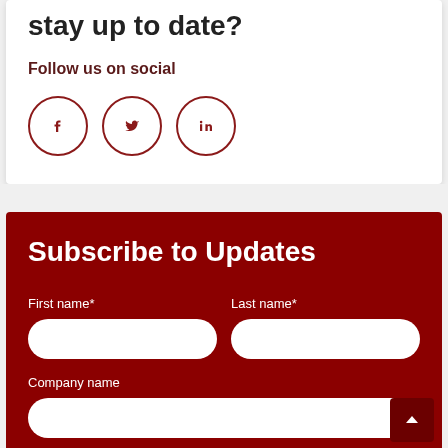stay up to date?
Follow us on social
[Figure (illustration): Three social media icon circles: Facebook (f), Twitter (bird), LinkedIn (in), all in dark red outline on white background]
Subscribe to Updates
First name*
Last name*
Company name